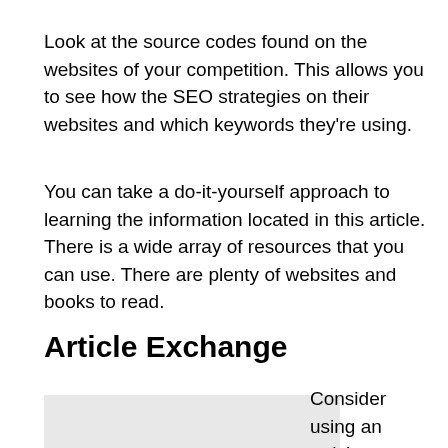Look at the source codes found on the websites of your competition. This allows you to see how the SEO strategies on their websites and which keywords they're using.
You can take a do-it-yourself approach to learning the information located in this article. There is a wide array of resources that you can use. There are plenty of websites and books to read.
Article Exchange
[Figure (photo): A small propeller aircraft (Cessna Caravan type) on the ground, white with blue and green accents, with text on the fuselage.]
Consider using an article exchange